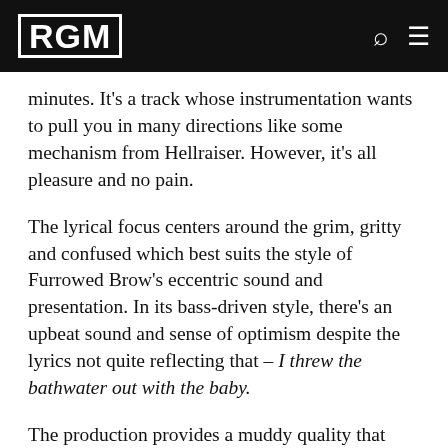RGM
minutes. It's a track whose instrumentation wants to pull you in many directions like some mechanism from Hellraiser. However, it's all pleasure and no pain.
The lyrical focus centers around the grim, gritty and confused which best suits the style of Furrowed Brow's eccentric sound and presentation. In its bass-driven style, there's an upbeat sound and sense of optimism despite the lyrics not quite reflecting that – I threw the bathwater out with the baby.
The production provides a muddy quality that dampens a lot of the instrumentation such as guitars, keys, and drums to give them that overall vintage sound. The vocal varieties and organ production also give I Threw The Bathwater Out a freakshow circus vibe that I'd imagine post-punk